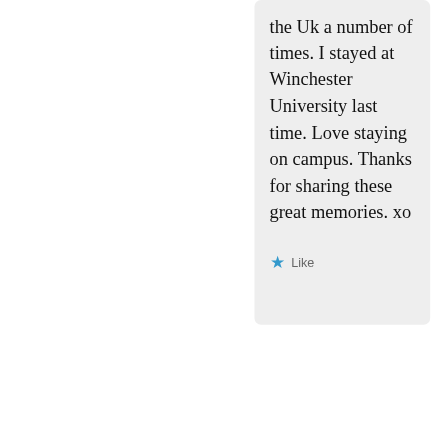the Uk a number of times. I stayed at Winchester University last time. Love staying on campus. Thanks for sharing these great memories. xo
Like
SEPTEMBER 22, 2019 AT 9:24 PM
REPLY
[Figure (photo): Circular avatar photo of a woman with short blonde/grey hair, framed with a red circular border]
Coral Waight
Thanks Rod...